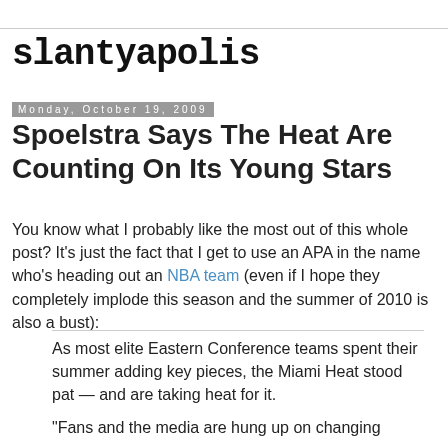slantyapolis
Monday, October 19, 2009
Spoelstra Says The Heat Are Counting On Its Young Stars
You know what I probably like the most out of this whole post? It's just the fact that I get to use an APA in the name who's heading out an NBA team (even if I hope they completely implode this season and the summer of 2010 is also a bust):
As most elite Eastern Conference teams spent their summer adding key pieces, the Miami Heat stood pat — and are taking heat for it.
"Fans and the media are hung up on changing